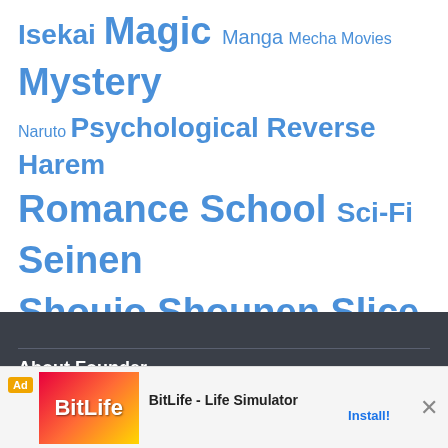Isekai Magic Manga Mecha Movies Mystery Naruto Psychological Reverse Harem Romance School Sci-Fi Seinen Shoujo Shounen Slice of Life Sports Supernatural Super Power The Quintessential Quintuplets Thriller
About Founder
About 9-Tailed Kitsune
[Figure (screenshot): Advertisement banner for BitLife - Life Simulator app with install button and close button]